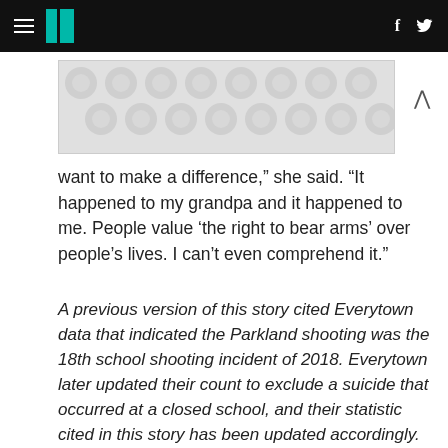HuffPost navigation with hamburger menu, logo, Facebook and Twitter icons
[Figure (illustration): Decorative image placeholder with grey polka-dot pattern and a chevron/caret up symbol to the right]
want to make a difference,” she said. “It happened to my grandpa and it happened to me. People value ‘the right to bear arms’ over people’s lives. I can’t even comprehend it.”
A previous version of this story cited Everytown data that indicated the Parkland shooting was the 18th school shooting incident of 2018. Everytown later updated their count to exclude a suicide that occurred at a closed school, and their statistic cited in this story has been updated accordingly.